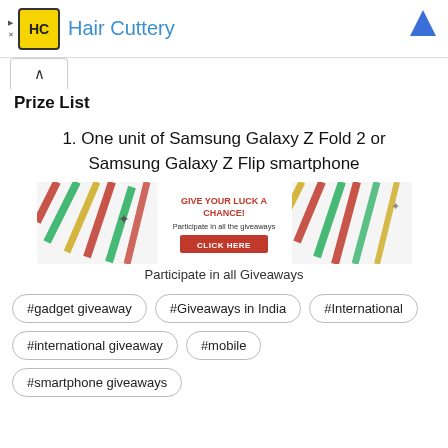[Figure (logo): Hair Cuttery advertisement banner with HC logo and blue title text]
Prize List
1. One unit of Samsung Galaxy Z Fold 2 or Samsung Galaxy Z Flip smartphone
[Figure (infographic): Giveaway promotional banner with diagonal stripes and text: GIVE YOUR LUCK A CHANCE! Participate in all the giveaways CLICK HERE]
Participate in all Giveaways
#gadget giveaway
#Giveaways in India
#International
#international giveaway
#mobile
#smartphone giveaways